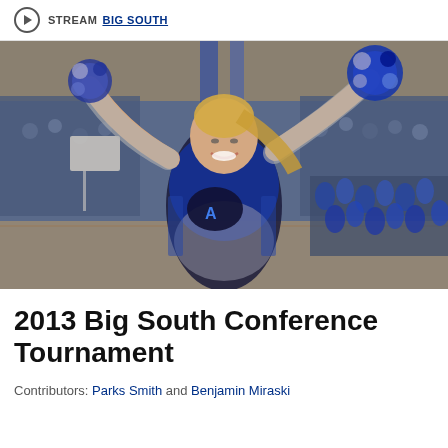STREAM BIG SOUTH
[Figure (photo): A cheerleader in a blue and black Asheville uniform holds pom-poms above her head with both arms raised, smiling, inside a basketball arena with a crowd in the background.]
2013 Big South Conference Tournament
Contributors: Parks Smith and Benjamin Miraski